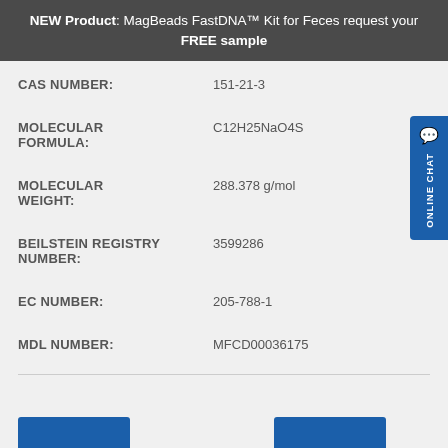NEW Product: MagBeads FastDNA™ Kit for Feces request your FREE sample
| Property | Value |
| --- | --- |
| CAS NUMBER: | 151-21-3 |
| MOLECULAR FORMULA: | C12H25NaO4S |
| MOLECULAR WEIGHT: | 288.378 g/mol |
| BEILSTEIN REGISTRY NUMBER: | 3599286 |
| EC NUMBER: | 205-788-1 |
| MDL NUMBER: | MFCD00036175 |